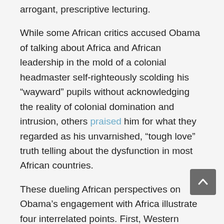arrogant, prescriptive lecturing.
While some African critics accused Obama of talking about Africa and African leadership in the mold of a colonial headmaster self-righteously scolding his “wayward” pupils without acknowledging the reality of colonial domination and intrusion, others praised him for what they regarded as his unvarnished, “tough love” truth telling about the dysfunction in most African countries.
These dueling African perspectives on Obama’s engagement with Africa illustrate four interrelated points. First, Western interlocutors, even those with sentimental affinities to the continent, struggle to find the right frame to engage with Africa and its issues.
Second, there is a tendency to pigeonhole Western commentaries on Africa into two categories of